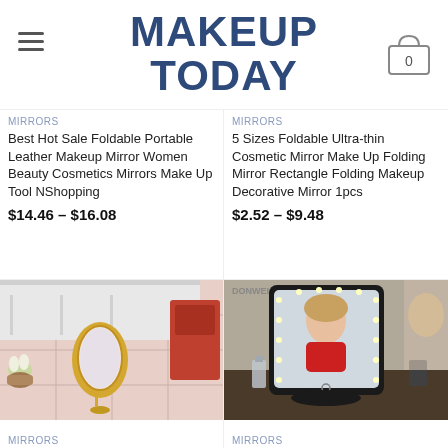MAKEUP TODAY
MIRRORS
Best Hot Sale Foldable Portable Leather Makeup Mirror Women Beauty Cosmetics Mirrors Make Up Tool NShopping
$14.46 – $16.08
MIRRORS
5 Sizes Foldable Ultra-thin Cosmetic Mirror Make Up Folding Mirror Rectangle Folding Makeup Decorative Mirror 1pcs
$2.52 – $9.48
[Figure (photo): Gold oval vanity mirror on a stand placed on a pink tile surface with white shelf and decorative items in background]
MIRRORS
[Figure (photo): LED lighted makeup mirror (DONWEI brand) with a woman in red applying makeup reflected in it, black frame and base]
MIRRORS